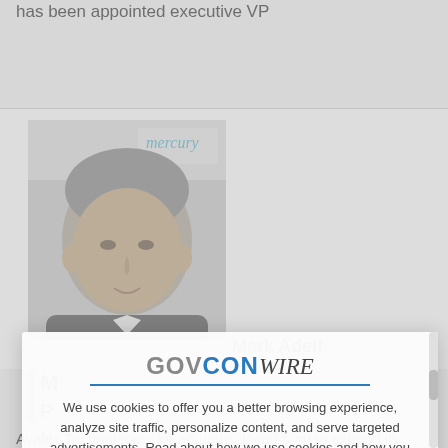has been appointed executive VP
[Figure (photo): Headshot photo of a man with grey hair against Mercury company logo background]
Mark Adelt (partial, obscured by modal)
M (partial article headline)
P (partial article subheading)
N (partial article text)
Avalex Technologies for an undisclosed sum to expand its
[Figure (screenshot): GovConWire cookie consent modal overlay with logo, cookie policy text, and X close button]
We use cookies to offer you a better browsing experience, analyze site traffic, personalize content, and serve targeted advertisements. Read about how we use cookies and how you can control them on our Privacy Policy. If you continue to use this site, you consent to our use of cookies.